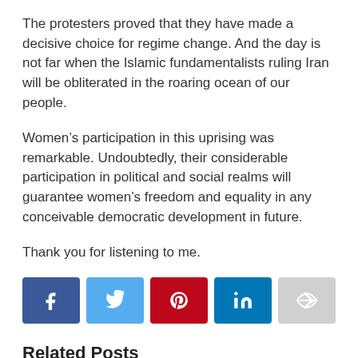The protesters proved that they have made a decisive choice for regime change. And the day is not far when the Islamic fundamentalists ruling Iran will be obliterated in the roaring ocean of our people.
Women's participation in this uprising was remarkable. Undoubtedly, their considerable participation in political and social realms will guarantee women's freedom and equality in any conceivable democratic development in future.
Thank you for listening to me.
[Figure (infographic): Social share buttons: Facebook (blue), Twitter (light blue), Pinterest (red), LinkedIn (teal), Share/forward (grey)]
Related Posts